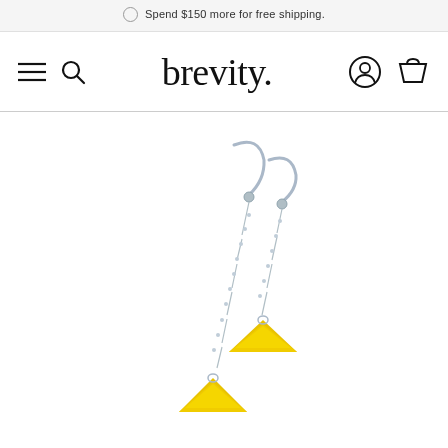Spend $150 more for free shipping.
brevity.
[Figure (photo): Product photo of two dangling earrings with silver fish-hook clasps and delicate silver chains, each ending in a yellow triangle-shaped enamel charm. One earring is longer than the other, shown against a white background.]